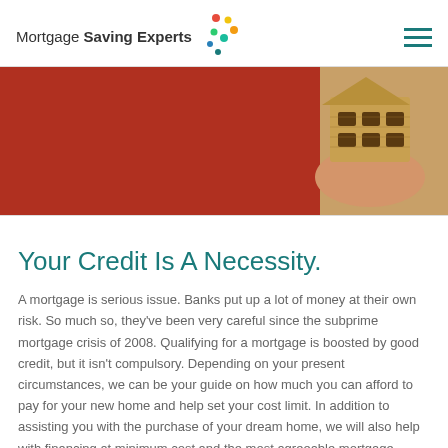Mortgage Saving Experts
[Figure (photo): Person in red top holding a small wicker model house]
Your Credit Is A Necessity.
A mortgage is serious issue. Banks put up a lot of money at their own risk. So much so, they've been very careful since the subprime mortgage crisis of 2008. Qualifying for a mortgage is boosted by good credit, but it isn't compulsory. Depending on your present circumstances, we can be your guide on how much you can afford to pay for your new home and help set your cost limit. In addition to assisting you with the purchase of your dream home, we will also help with financing at minimum cost and the most agreeable mortgage available.